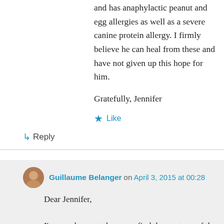and has anaphylactic peanut and egg allergies as well as a severe canine protein allergy. I firmly believe he can heal from these and have not given up this hope for him.
Gratefully, Jennifer
★ Like
↳ Reply
Guillaume Belanger on April 3, 2015 at 00:28
Dear Jennifer,

I'm very happy to hear you find the contents of the blog interesting and useful. I much prefer writing to educate and inform